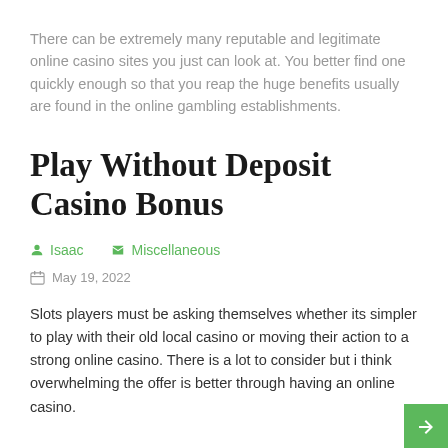There can be extremely many reputable and legitimate online casino sites you just can look at. You better find one quickly enough so that you reap the huge benefits usually are found in the online gambling establishments.
Play Without Deposit Casino Bonus
Isaac   Miscellaneous
May 19, 2022
Slots players must be asking themselves whether its simpler to play with their old local casino or moving their action to a strong online casino. There is a lot to consider but i think overwhelming the offer is better through having an online casino.